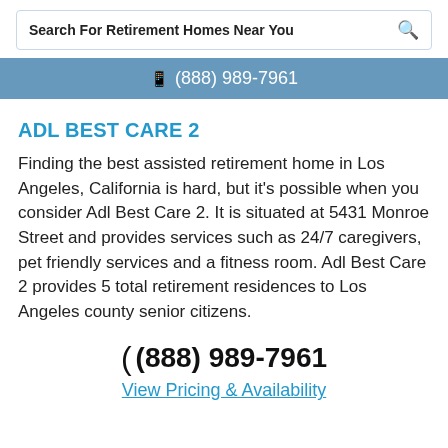Search For Retirement Homes Near You
📱 (888) 989-7961
ADL BEST CARE 2
Finding the best assisted retirement home in Los Angeles, California is hard, but it's possible when you consider Adl Best Care 2. It is situated at 5431 Monroe Street and provides services such as 24/7 caregivers, pet friendly services and a fitness room. Adl Best Care 2 provides 5 total retirement residences to Los Angeles county senior citizens.
(888) 989-7961
View Pricing & Availability